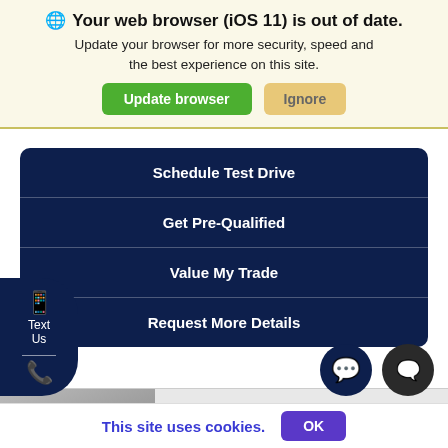🌐 Your web browser (iOS 11) is out of date. Update your browser for more security, speed and the best experience on this site.
Update browser | Ignore
Schedule Test Drive
Get Pre-Qualified
Value My Trade
Request More Details
Text Us
Certified Used 2021
Certified Pre-Owned Mas
Ghibli Trofeo
This site uses cookies.
OK